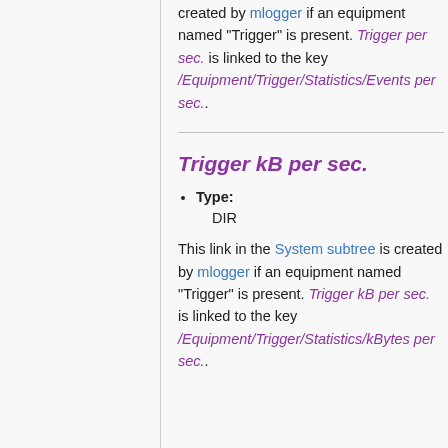created by mlogger if an equipment named "Trigger" is present. Trigger per sec. is linked to the key /Equipment/Trigger/Statistics/Events per sec..
Trigger kB per sec.
Type: DIR
This link in the System subtree is created by mlogger if an equipment named "Trigger" is present. Trigger kB per sec. is linked to the key /Equipment/Trigger/Statistics/kBytes per sec..